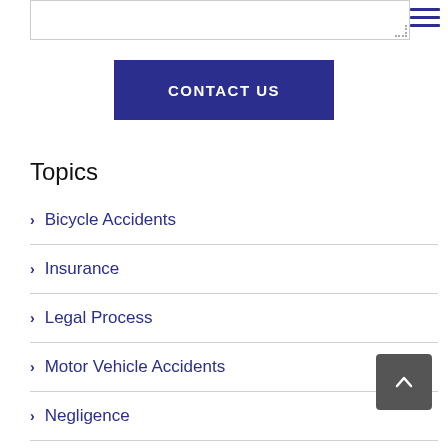[Figure (screenshot): Textarea input box stub at top of page]
[Figure (other): Hamburger menu icon with three horizontal dark blue lines]
CONTACT US
Topics
Bicycle Accidents
Insurance
Legal Process
Motor Vehicle Accidents
Negligence
Pedestrian Accidents
Slips and Falls